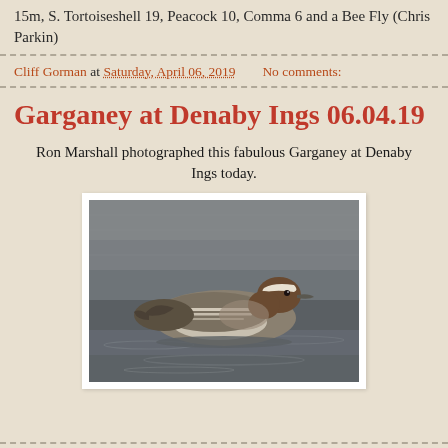15m, S. Tortoiseshell 19, Peacock 10, Comma 6 and a Bee Fly (Chris Parkin)
Cliff Gorman at Saturday, April 06, 2019    No comments:
Garganey at Denaby Ings 06.04.19
Ron Marshall photographed this fabulous Garganey at Denaby Ings today.
[Figure (photo): A Garganey duck swimming on water, viewed from the side. The duck has distinctive brown and white plumage with striped wing feathers. It is photographed in a natural setting on grey water.]